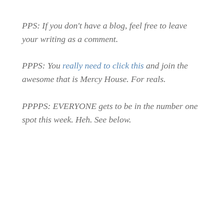PPS: If you don't have a blog, feel free to leave your writing as a comment.
PPPS: You really need to click this and join the awesome that is Mercy House. For reals.
PPPPS: EVERYONE gets to be in the number one spot this week. Heh. See below.